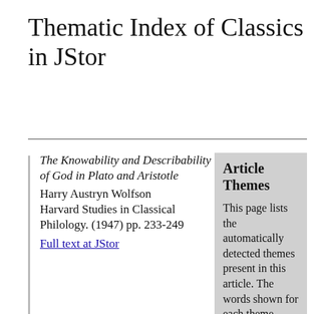Thematic Index of Classics in JStor
The Knowability and Describability of God in Plato and Aristotle
Harry Austryn Wolfson
Harvard Studies in Classical Philology. (1947) pp. 233-249
Full text at JStor
Article Themes
This page lists the automatically detected themes present in this article. The words shown for each theme reflect the overall content of the theme.